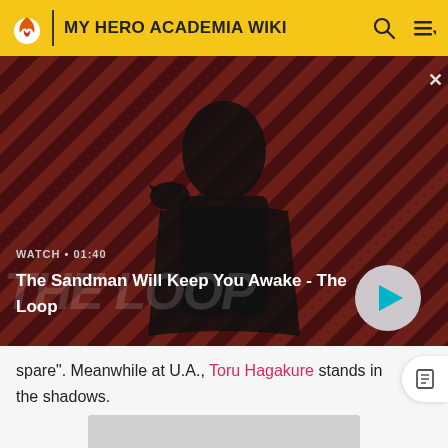MY HERO ACADEMIA WIKI
[Figure (screenshot): Video thumbnail for 'The Sandman Will Keep You Awake - The Loop' showing a dark-clad figure with a black bird on shoulder against a red diagonal-stripe background. Shows WATCH • 01:40 label and a play button.]
spare". Meanwhile at U.A., Toru Hagakure stands in the shadows.
[Figure (photo): Gray placeholder image area at bottom of page]